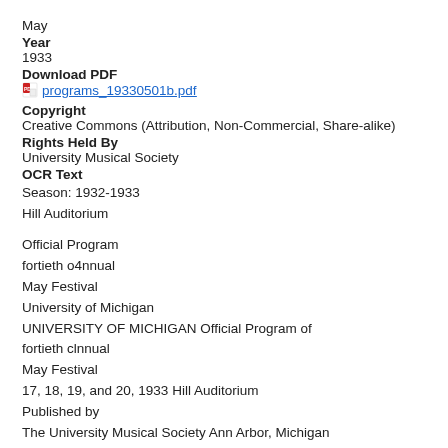May
Year
1933
Download PDF
programs_19330501b.pdf
Copyright
Creative Commons (Attribution, Non-Commercial, Share-alike)
Rights Held By
University Musical Society
OCR Text
Season: 1932-1933
Hill Auditorium

Official Program
fortieth o4nnual
May Festival
University of Michigan
UNIVERSITY OF MICHIGAN Official Program of
fortieth clnnual
May Festival
17, 18, 19, and 20, 1933 Hill Auditorium
Published by
The University Musical Society Ann Arbor, Michigan
UNIVERSITY MUSICAL SOCIETY